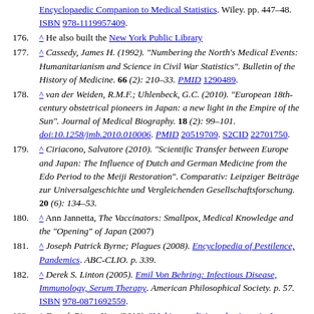(continuation) Encyclopaedic Companion to Medical Statistics. Wiley. pp. 447–48. ISBN 978-1119957409.
176. ^ He also built the New York Public Library
177. ^ Cassedy, James H. (1992). "Numbering the North's Medical Events: Humanitarianism and Science in Civil War Statistics". Bulletin of the History of Medicine. 66 (2): 210–33. PMID 1290489.
178. ^ van der Weiden, R.M.F.; Uhlenbeck, G.C. (2010). "European 18th-century obstetrical pioneers in Japan: a new light in the Empire of the Sun". Journal of Medical Biography. 18 (2): 99–101. doi:10.1258/jmb.2010.010006. PMID 20519709. S2CID 22701750.
179. ^ Ciriacono, Salvatore (2010). "Scientific Transfer between Europe and Japan: The Influence of Dutch and German Medicine from the Edo Period to the Meiji Restoration". Comparativ: Leipziger Beiträge zur Universalgeschichte und Vergleichenden Gesellschaftsforschung. 20 (6): 134–53.
180. ^ Ann Jannetta, The Vaccinators: Smallpox, Medical Knowledge and the "Opening" of Japan (2007)
181. ^ Joseph Patrick Byrne; Plagues (2008). Encyclopedia of Pestilence, Pandemics. ABC-CLIO. p. 339.
182. ^ Derek S. Linton (2005). Emil Von Behring: Infectious Disease, Immunology, Serum Therapy. American Philosophical Society. p. 57. ISBN 978-0871692559.
183. ^ Donzé, Pierre-Yves (2010). "Making medicine a business in Japan: Shimadzu Co. and the diffusion of radiology